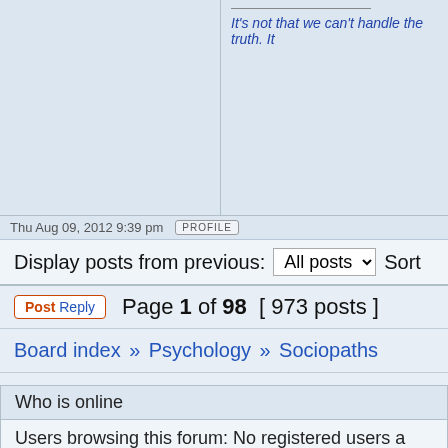It's not that we can't handle the truth. It
Thu Aug 09, 2012 9:39 pm  PROFILE
Display posts from previous:  All posts  Sort
Post Reply  Page 1 of 98  [ 973 posts ]
Board index » Psychology » Sociopaths
Who is online
Users browsing this forum: No registered users a
You
Yo
You
You c
You c